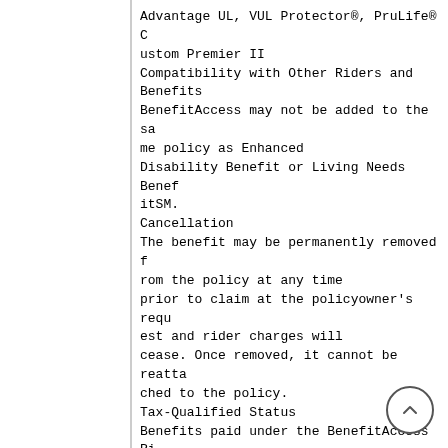Advantage UL, VUL Protector®, PruLife® Custom Premier II
Compatibility with Other Riders and Benefits
BenefitAccess may not be added to the same policy as Enhanced Disability Benefit or Living Needs BenefitSM.
Cancellation
The benefit may be permanently removed from the policy at any time prior to claim at the policyowner's request and rider charges will cease. Once removed, it cannot be reattached to the policy.
Tax-Qualified Status
Benefits paid under the BenefitAccess Rider are intended to be treated for federal tax purposes as accelerated life insurance death benefits under IRC §101(g)(1)(b). Accelerated death benefits that are paid from a life insurance contract are generally excludable